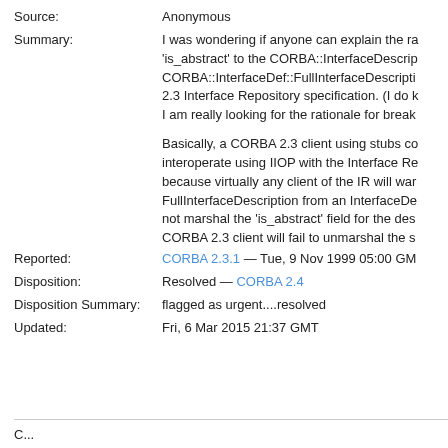Source: Anonymous
Summary: I was wondering if anyone can explain the rationale for adding 'is_abstract' to the CORBA::InterfaceDescription (which is part of CORBA::InterfaceDef::FullInterfaceDescription) in the CORBA 2.3 Interface Repository specification. (I do k... I am really looking for the rationale for break...

Basically, a CORBA 2.3 client using stubs co... interoperate using IIOP with the Interface Re... because virtually any client of the IR will war... FullInterfaceDescription from an InterfaceDe... not marshal the 'is_abstract' field for the des... CORBA 2.3 client will fail to unmarshal the s...
Reported: CORBA 2.3.1 — Tue, 9 Nov 1999 05:00 GM...
Disposition: Resolved — CORBA 2.4
Disposition Summary: flagged as urgent....resolved
Updated: Fri, 6 Mar 2015 21:37 GMT